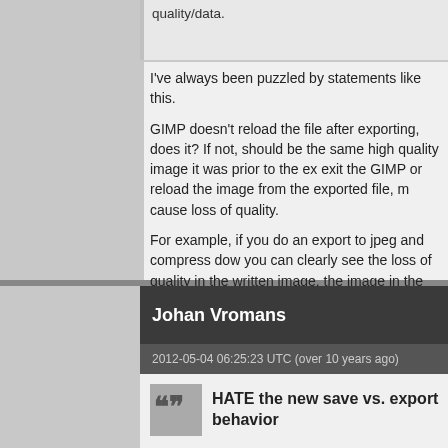quality/data.
I've always been puzzled by statements like this.
GIMP doesn't reload the file after exporting, does it? If not, should be the same high quality image it was prior to the exit the GIMP or reload the image from the exported file, m cause loss of quality.
For example, if you do an export to jpeg and compress dow you can clearly see the loss of quality in the written image. the image in the buffer reverts to the high quality it was prio
Is there something I'm missing?
Gary
Johan Vromans
2012-05-04 06:25:23 UTC (over 10 years ago)
HATE the new save vs. export behavior
Alexandre Prokoudine writes: